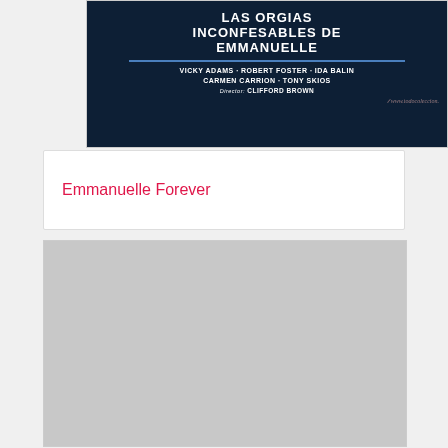[Figure (photo): Movie poster partial view with dark navy background showing text: LAS ORGIAS INCONFESABLES DE EMMANUELLE, with cast: VICKY ADAMS · ROBERT FOSTER · IDA BALIN, CARMEN CARRION · TONY SKIOS, Director: CLIFFORD BROWN. Watermark: tc www.todocoleccion.]
Emmanuelle Forever
[Figure (photo): Light gray placeholder image, no visible content.]